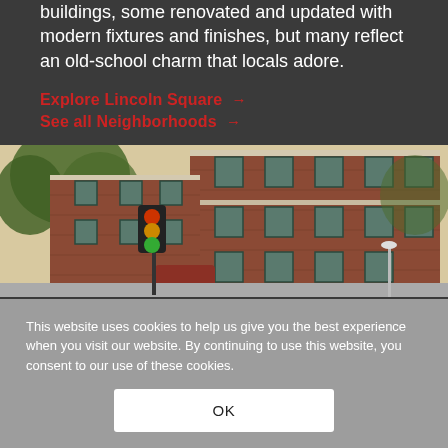buildings, some renovated and updated with modern fixtures and finishes, but many reflect an old-school charm that locals adore.
Explore Lincoln Square →
See all Neighborhoods →
[Figure (photo): Exterior photo of a red-brick multi-story corner building with green-framed windows, trees visible on the left, and a street intersection in the foreground.]
This website uses cookies to help us give you the best experience when you visit our website. By continuing to use this website, you consent to our use of these cookies.